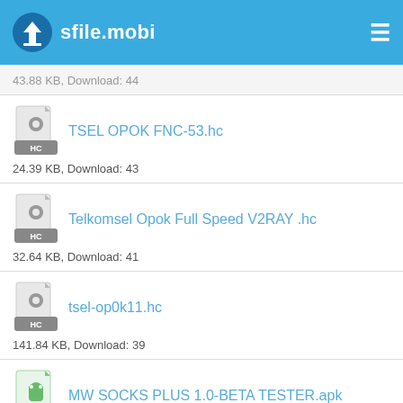sfile.mobi
43.88 KB, Download: 44
TSEL OPOK FNC-53.hc
24.39 KB, Download: 43
Telkomsel Opok Full Speed V2RAY .hc
32.64 KB, Download: 41
tsel-op0k11.hc
141.84 KB, Download: 39
MW SOCKS PLUS 1.0-BETA TESTER.apk
7.93 MB, Download: 39
Axis Unlimited GAME v012.hc
39.91 KB, Download: 39
TSEL GAME MAX V2RAY .hc